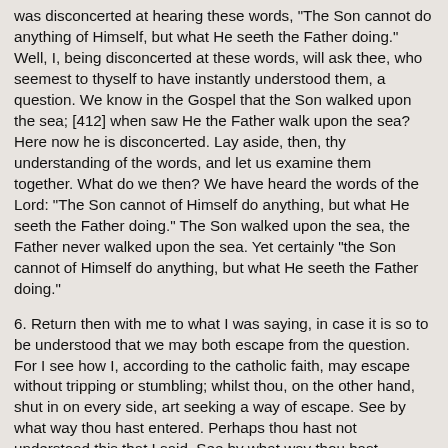was disconcerted at hearing these words, "The Son cannot do anything of Himself, but what He seeth the Father doing." Well, I, being disconcerted at these words, will ask thee, who seemest to thyself to have instantly understood them, a question. We know in the Gospel that the Son walked upon the sea; [412] when saw He the Father walk upon the sea? Here now he is disconcerted. Lay aside, then, thy understanding of the words, and let us examine them together. What do we then? We have heard the words of the Lord: "The Son cannot of Himself do anything, but what He seeth the Father doing." The Son walked upon the sea, the Father never walked upon the sea. Yet certainly "the Son cannot of Himself do anything, but what He seeth the Father doing."
6. Return then with me to what I was saying, in case it is so to be understood that we may both escape from the question. For I see how I, according to the catholic faith, may escape without tripping or stumbling; whilst thou, on the other hand, shut in on every side, art seeking a way of escape. See by what way thou hast entered. Perhaps thou hast not understood this that I said, See by what way thou hast entered: hear Himself saying, "I am the door." [413] Not without cause, then, art thou seeking how thou mayest get out; and this only thou findest, that thou hast not entered by the door, but fell in over the wall. Therefore raise thyself up from thy fall how thou canst, and enter by the door, that thou mayest go in without stumbling, and go out without straying. Come by Christ, not bringing forward of thy own heart what thou mayest say; but what He shows, that speak. Behold how the catholic faith gets clear of this question. The Son walked upon the sea, planted the feet of flesh on the waves: the flesh